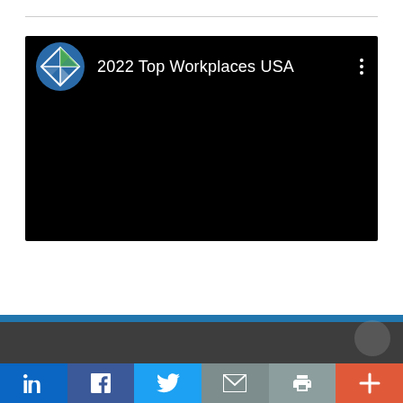[Figure (screenshot): Embedded video thumbnail with dark/black background. Top bar shows a circular blue compass logo and the title '2022 Top Workplaces USA' in white text on left, with a three-dot menu icon on the right.]
[Figure (infographic): Website footer area with a blue accent bar, dark grey band, and a row of social sharing buttons: LinkedIn (blue), Facebook (dark blue), Twitter (light blue), Email (grey), Print (grey), and More/Plus (orange-red).]